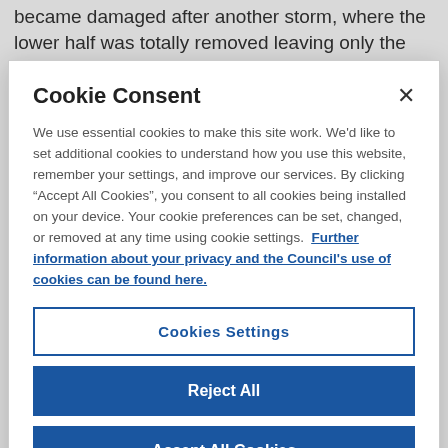became damaged after another storm, where the lower half was totally removed leaving only the vertical support members. Although the upper half was still in
Cookie Consent
We use essential cookies to make this site work. We'd like to set additional cookies to understand how you use this website, remember your settings, and improve our services. By clicking “Accept All Cookies”, you consent to all cookies being installed on your device. Your cookie preferences can be set, changed, or removed at any time using cookie settings. Further information about your privacy and the Council’s use of cookies can be found here.
Cookies Settings
Reject All
Accept All Cookies